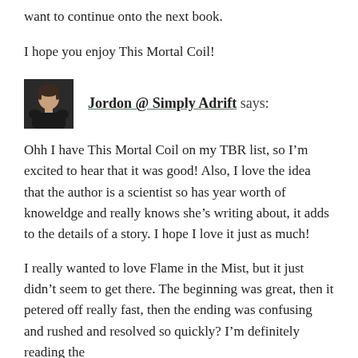want to continue onto the next book.
I hope you enjoy This Mortal Coil!
Jordon @ Simply Adrift says:
Ohh I have This Mortal Coil on my TBR list, so I’m excited to hear that it was good! Also, I love the idea that the author is a scientist so has year worth of knoweldge and really knows she’s writing about, it adds to the details of a story. I hope I love it just as much!
I really wanted to love Flame in the Mist, but it just didn’t seem to get there. The beginning was great, then it petered off really fast, then the ending was confusing and rushed and resolved so quickly? I’m definitely reading the